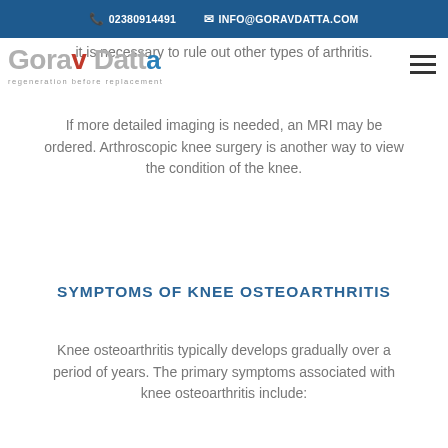02380914491   INFO@GORAVDATTA.COM
[Figure (logo): Gorav Datta logo with tagline 'regeneration before replacement']
it is necessary to rule out other types of arthritis.
If more detailed imaging is needed, an MRI may be ordered. Arthroscopic knee surgery is another way to view the condition of the knee.
SYMPTOMS OF KNEE OSTEOARTHRITIS
Knee osteoarthritis typically develops gradually over a period of years. The primary symptoms associated with knee osteoarthritis include: